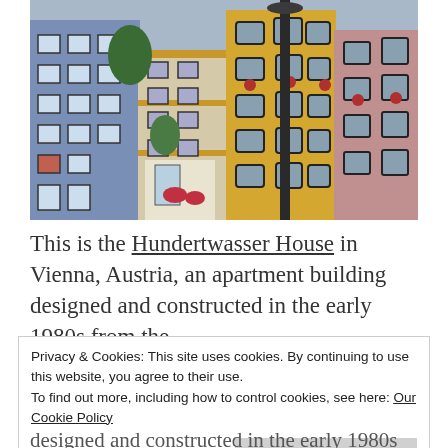[Figure (photo): Photograph of the Hundertwasser House in Vienna, Austria — a colorful apartment building facade with irregularly shaped windows, painted in blue, yellow, pink, and earth tones, with green plants and a dark lamp post in the foreground.]
This is the Hundertwasser House in Vienna, Austria, an apartment building designed and constructed in the early 1980s from the
Privacy & Cookies: This site uses cookies. By continuing to use this website, you agree to their use.
To find out more, including how to control cookies, see here: Our Cookie Policy
Close and accept
designed and constructed in the early 1980s from the